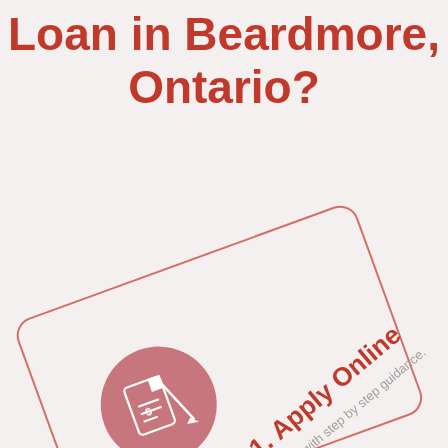Loan in Beardmore, Ontario?
[Figure (illustration): A rotated card/panel with a pink rounded-rectangle border, containing a pink circle icon with a document and pen illustration, bold red text '1. Apply Online', and gray descriptive text 'application with step by step guidance.']